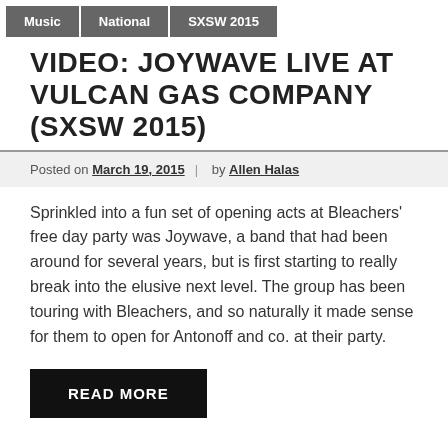Music | National | SXSW 2015
VIDEO: JOYWAVE LIVE AT VULCAN GAS COMPANY (SXSW 2015)
Posted on March 19, 2015 | by Allen Halas
Sprinkled into a fun set of opening acts at Bleachers' free day party was Joywave, a band that had been around for several years, but is first starting to really break into the elusive next level. The group has been touring with Bleachers, and so naturally it made sense for them to open for Antonoff and co. at their party.
READ MORE